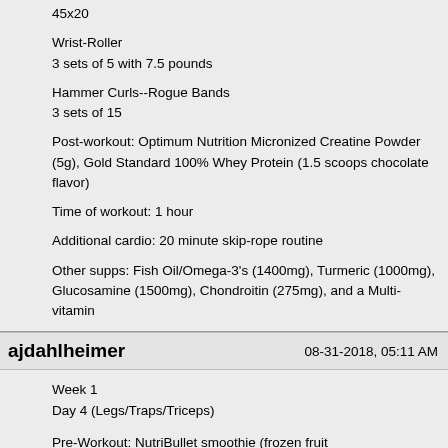45x20
Wrist-Roller
3 sets of 5 with 7.5 pounds
Hammer Curls--Rogue Bands
3 sets of 15
Post-workout: Optimum Nutrition Micronized Creatine Powder (5g), Gold Standard 100% Whey Protein (1.5 scoops chocolate flavor)
Time of workout: 1 hour
Additional cardio: 20 minute skip-rope routine
Other supps: Fish Oil/Omega-3's (1400mg), Turmeric (1000mg), Glucosamine (1500mg), Chondroitin (275mg), and a Multi-vitamin
ajdahlheimer
08-31-2018, 05:11 AM
Week 1
Day 4 (Legs/Traps/Triceps)
Pre-Workout: NutriBullet smoothie (frozen fruit